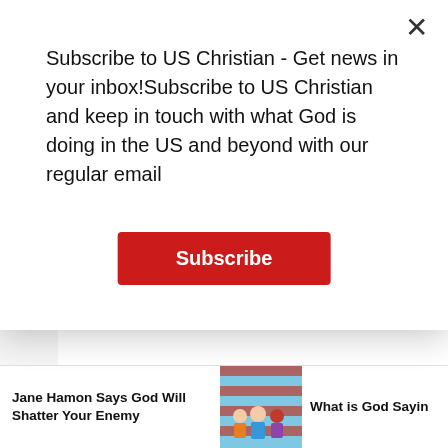Subscribe to US Christian - Get news in your inbox!Subscribe to US Christian and keep in touch with what God is doing in the US and beyond with our regular email
Subscribe
❖❖❖
[Figure (screenshot): Social share buttons: Facebook (blue), Twitter (cyan), Email (grey) on right edge]
Jane Hamon Says God Will Shatter Your Enemy
[Figure (photo): Group of people in front of American flag]
What is God Sayin